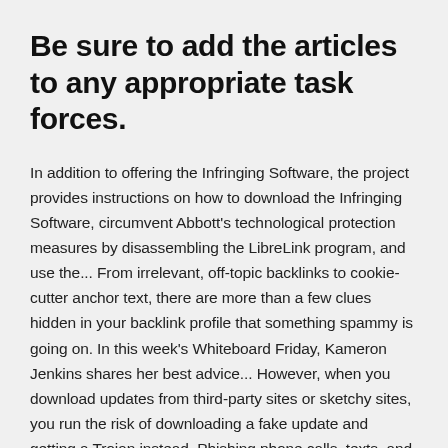Be sure to add the articles to any appropriate task forces.
In addition to offering the Infringing Software, the project provides instructions on how to download the Infringing Software, circumvent Abbott's technological protection measures by disassembling the LibreLink program, and use the... From irrelevant, off-topic backlinks to cookie-cutter anchor text, there are more than a few clues hidden in your backlink profile that something spammy is going on. In this week's Whiteboard Friday, Kameron Jenkins shares her best advice... However, when you download updates from third-party sites or sketchy sites, you run the risk of downloading a fake update and getting a Trojan instead. Phishing phone calls, texts, and phishing emails are a nationwide epidemic. Stay safe by knowing these signs